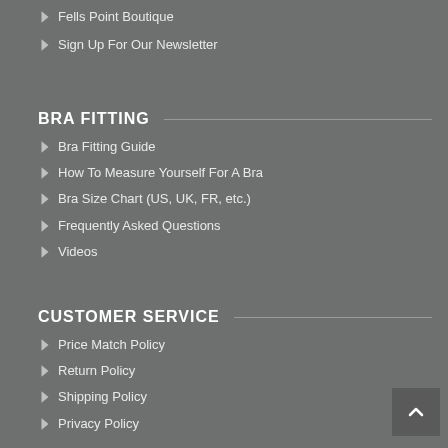Fells Point Boutique
Sign Up For Our Newsletter
BRA FITTING
Bra Fitting Guide
How To Measure Yourself For A Bra
Bra Size Chart (US, UK, FR, etc.)
Frequently Asked Questions
Videos
CUSTOMER SERVICE
Price Match Policy
Return Policy
Shipping Policy
Privacy Policy